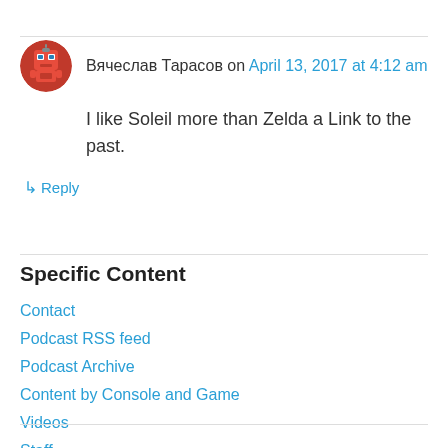Вячеслав Тарасов on April 13, 2017 at 4:12 am
I like Soleil more than Zelda a Link to the past.
↳ Reply
Specific Content
Contact
Podcast RSS feed
Podcast Archive
Content by Console and Game
Videos
Staff